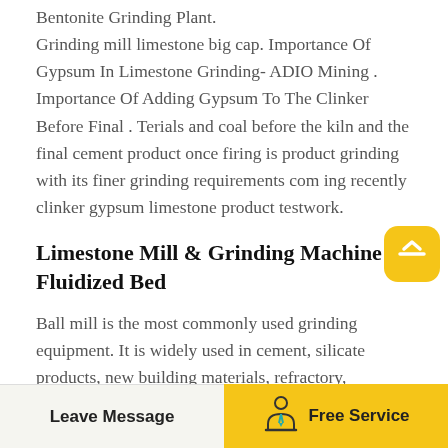Bentonite Grinding Plant. Grinding mill limestone big cap. Importance Of Gypsum In Limestone Grinding- ADIO Mining . Importance Of Adding Gypsum To The Clinker Before Final . Terials and coal before the kiln and the final cement product once firing is product grinding with its finer grinding requirements coming recently clinker gypsum limestone product testwork.
Limestone Mill & Grinding Machine Fluidized Bed
Ball mill is the most commonly used grinding equipment. It is widely used in cement, silicate products, new building materials, refractory, fertilizer, non-ferrous metal, glass ceramic and other industries. Ball grinder mainly grind various ores
Leave Message   Free Service